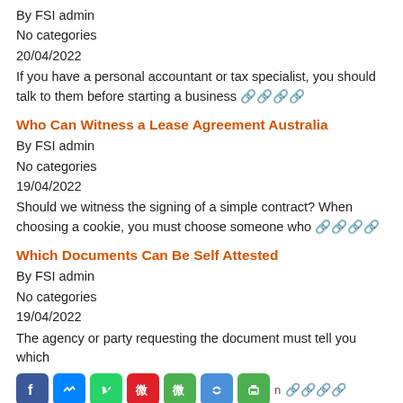By FSI admin
No categories
20/04/2022
If you have a personal accountant or tax specialist, you should talk to them before starting a business 🔗
Who Can Witness a Lease Agreement Australia
By FSI admin
No categories
19/04/2022
Should we witness the signing of a simple contract? When choosing a cookie, you must choose someone who 🔗
Which Documents Can Be Self Attested
By FSI admin
No categories
19/04/2022
The agency or party requesting the document must tell you which
[Figure (infographic): Social sharing icons row: Facebook, Messenger, WhatsApp, Weibo, WeChat, Qzone/link, Print; followed by 'n' and an orange link]
When Did India Sign Paris Agreement